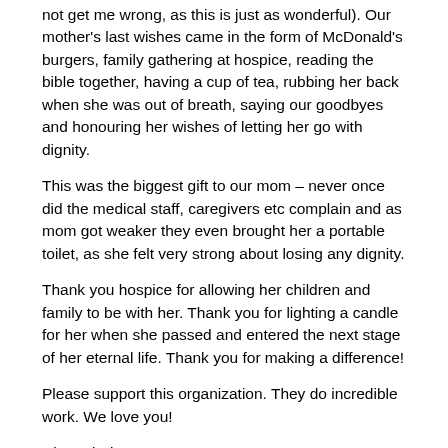not get me wrong, as this is just as wonderful). Our mother's last wishes came in the form of McDonald's burgers, family gathering at hospice, reading the bible together, having a cup of tea, rubbing her back when she was out of breath, saying our goodbyes and honouring her wishes of letting her go with dignity.
This was the biggest gift to our mom – never once did the medical staff, caregivers etc complain and as mom got weaker they even brought her a portable toilet, as she felt very strong about losing any dignity.
Thank you hospice for allowing her children and family to be with her. Thank you for lighting a candle for her when she passed and entered the next stage of her eternal life. Thank you for making a difference!
Please support this organization. They do incredible work. We love you!
Chantel Pienaar
Caption: Dedicated to our beautiful mother who was taken from us and to our mom. May our first encounter…